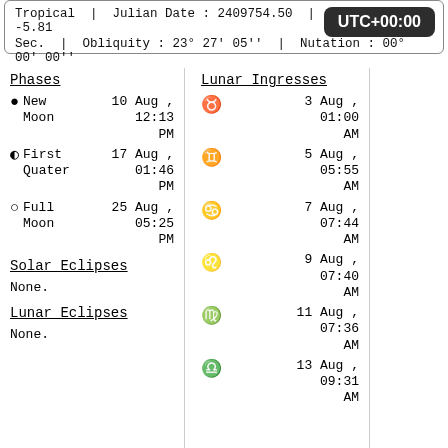Tropical | Julian Date : 2409754.50 | Delta T : -5.81 Sec. | Obliquity : 23° 27' 05'' | Nutation : 00° 00' 00''
UTC+00:00
Phases
● New Moon  10 Aug , 12:13 PM
◐ First Quater  17 Aug , 01:46 PM
○ Full Moon  25 Aug , 05:25 PM
Solar Eclipses
None.
Lunar Eclipses
None.
Lunar Ingresses
♉ 3 Aug , 01:00 AM
♊ 5 Aug , 05:55 AM
♋ 7 Aug , 07:44 AM
♌ 9 Aug , 07:40 AM
♍ 11 Aug , 07:36 AM
♎ 13 Aug , 09:31 AM